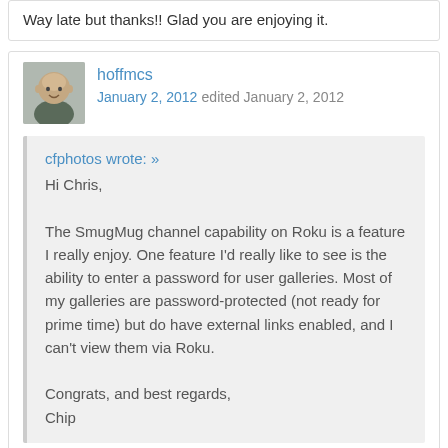Way late but thanks!! Glad you are enjoying it.
[Figure (photo): Avatar of user hoffmcs - bald man photo]
hoffmcs
January 2, 2012 edited January 2, 2012
cfphotos wrote: »
Hi Chris,

The SmugMug channel capability on Roku is a feature I really enjoy. One feature I'd really like to see is the ability to enter a password for user galleries. Most of my galleries are password-protected (not ready for prime time) but do have external links enabled, and I can't view them via Roku.

Congrats, and best regards,
Chip
Sorry for responding to a three month old question, but here it is anyway. You should be able to view all your private albums when you authenticate to your account. You may have